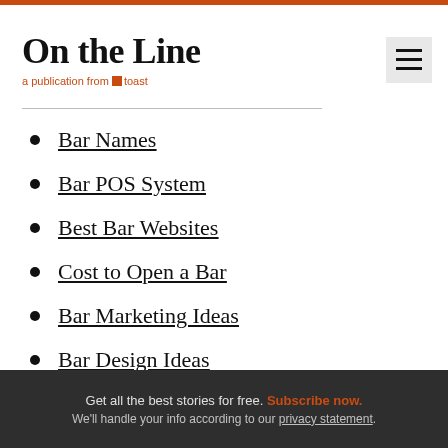On the Line — a publication from Toast
Bar Names
Bar POS System
Best Bar Websites
Cost to Open a Bar
Bar Marketing Ideas
Bar Design Ideas
Bar Branding
Get all the best stories for free. Subscribe now. We'll handle your info according to our privacy statement.